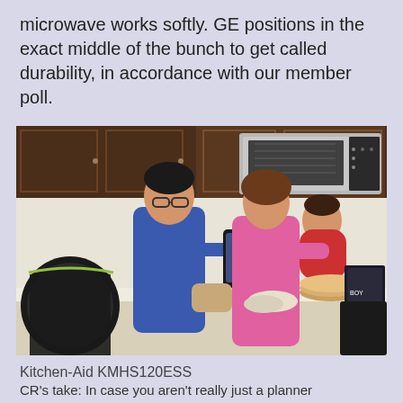microwave works softly. GE positions in the exact middle of the bunch to get called durability, in accordance with our member poll.
[Figure (photo): A family of three (man in blue t-shirt, woman in pink top holding a toddler in red) standing in a kitchen looking at a tablet device. A stainless steel microwave and dark wood cabinets are visible in the background.]
Kitchen-Aid KMHS120ESS
CR's take: In case you aren't really just a planner